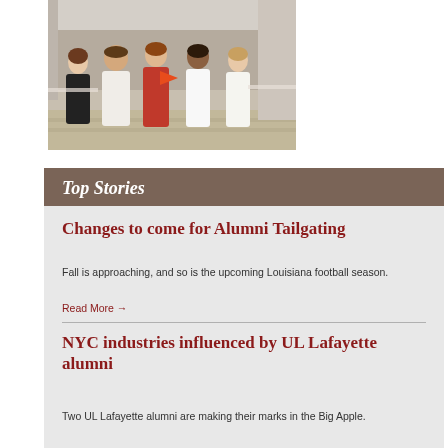[Figure (photo): Group photo of five people posing together indoors at what appears to be a reception or event venue. One person is holding a pennant flag.]
Top Stories
Changes to come for Alumni Tailgating
Fall is approaching, and so is the upcoming Louisiana football season.
Read More →
NYC industries influenced by UL Lafayette alumni
Two UL Lafayette alumni are making their marks in the Big Apple.